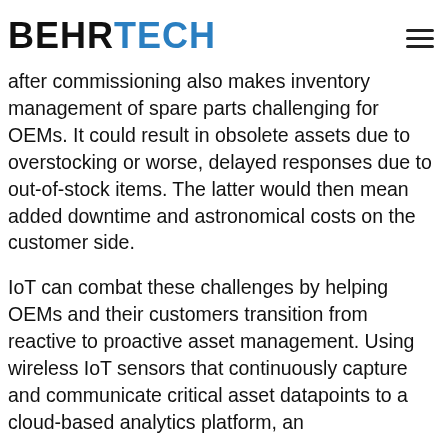BEHRTECH
after commissioning also makes inventory management of spare parts challenging for OEMs. It could result in obsolete assets due to overstocking or worse, delayed responses due to out-of-stock items. The latter would then mean added downtime and astronomical costs on the customer side.
IoT can combat these challenges by helping OEMs and their customers transition from reactive to proactive asset management. Using wireless IoT sensors that continuously capture and communicate critical asset datapoints to a cloud-based analytics platform, an